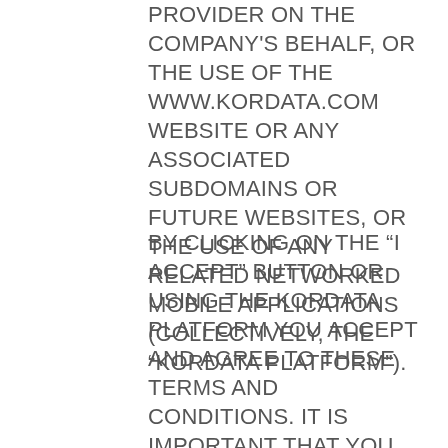PROVIDER ON THE COMPANY'S BEHALF, OR THE USE OF THE WWW.KORDATA.COM WEBSITE OR ANY ASSOCIATED SUBDOMAINS OR FUTURE WEBSITES, OR THE USE OF ANY RELATED NETWORKED MOBILE APPLICATIONS (COLLECTIVELY, THE “KORDATA PLATFORM”).
BY CLICKING ON THE “I ACCEPT” BUTTON OR USING THE KORDATA PLATFORM YOU ACCEPT AND AGREE TO THESE TERMS AND CONDITIONS. IT IS IMPORTANT THAT YOU READ THE ENTIRETY OF THESE TERMS AND CONDITIONS BEFORE ACCEPTING THEM. IF YOU ARE ACCEPTING THESE TERMS AND CONDITIONS ON BEHALF OF AN ENTITY, YOU REPRESENT